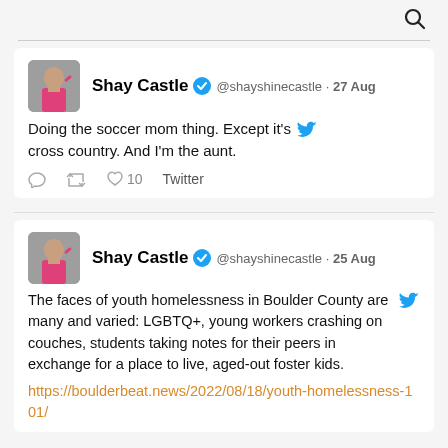[Figure (screenshot): Twitter/social media screenshot showing two tweets by Shay Castle (@shayshinecastle). Tweet 1 (27 Aug): 'Doing the soccer mom thing. Except it's cross country. And I'm the aunt.' with 10 likes. Tweet 2 (25 Aug): 'The faces of youth homelessness in Boulder County are many and varied: LGBTQ+, young workers crashing on couches, students taking notes for their peers in exchange for a place to live, aged-out foster kids.' with link https://boulderbeat.news/2022/08/18/youth-homelessness-101/]